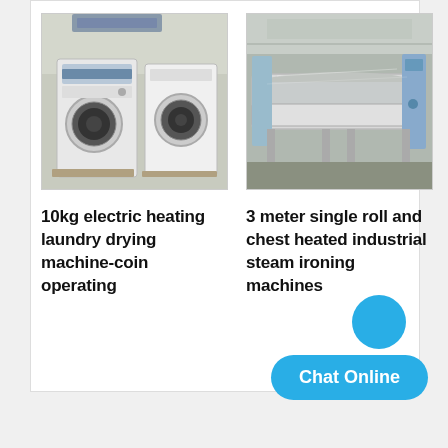[Figure (photo): Photo of two white industrial laundry drying machines in a warehouse setting]
10kg electric heating laundry drying machine-coin operating
[Figure (photo): Photo of a large industrial steam ironing machine (flat iron roller) in a factory]
3 meter single roll and chest heated industrial steam ironing machines
Chat Online